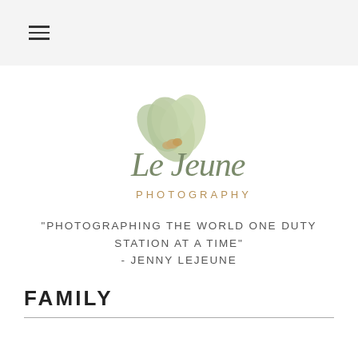≡ (hamburger menu)
[Figure (logo): Le Jeune Photography logo with a green floral illustration above cursive 'Le Jeune' text and 'PHOTOGRAPHY' in small caps below]
"PHOTOGRAPHING THE WORLD ONE DUTY STATION AT A TIME" - JENNY LEJEUNE
FAMILY